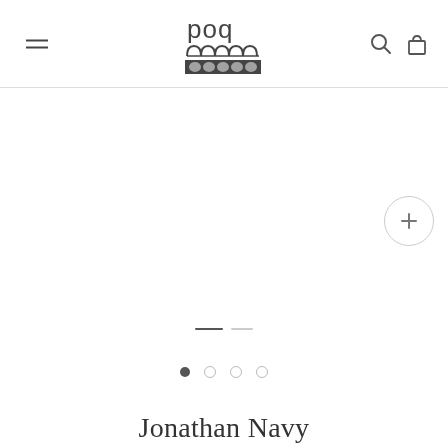[Figure (logo): POQ brand logo with text 'poq' and decorative knit/weave pattern below]
[Figure (screenshot): App product page screenshot showing empty product image area with zoom button, slide indicator lines, and dot pagination indicators]
Jonathan Navy